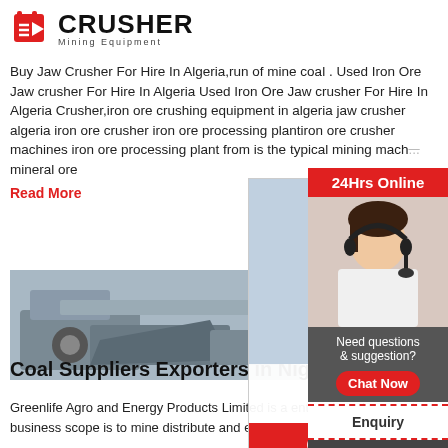[Figure (logo): Crusher Mining Equipment logo with red shopping bag icon and bold CRUSHER text]
Buy Jaw Crusher For Hire In Algeria,run of mine coal . Used Iron Ore Jaw crusher For Hire In Algeria Used Iron Ore Jaw crusher For Hire In Algeria Crusher,iron ore crushing equipment in algeria jaw crusher algeria iron ore crusher iron ore processing plantiron ore crusher machines iron ore processing plant from is the typical mining machine mineral ore
Read More
[Figure (photo): LIVE CHAT popup overlay with workers in yellow hard hats, LIVE CHAT heading, Click for a Free Consultation text, Chat now and Chat later buttons]
[Figure (photo): Crusher machinery equipment image]
[Figure (infographic): Right sidebar with 24Hrs Online banner, female agent with headset, Need questions & suggestion? text, Chat Now button, Enquiry section, limingjlmofen@sina.com email]
Coal Suppliers Exporters in Nigeria
Greenlife Agro and Energy Products Limited is a enterprise whose major business scope is to mine distribute and export different types of coal suc